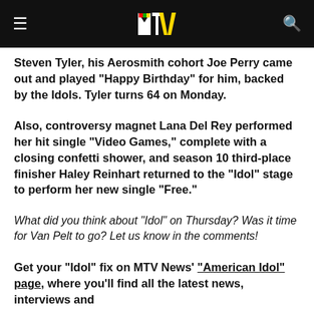MTV logo header with hamburger menu and search icon
Steven Tyler, his Aerosmith cohort Joe Perry came out and played "Happy Birthday" for him, backed by the Idols. Tyler turns 64 on Monday.
Also, controversy magnet Lana Del Rey performed her hit single "Video Games," complete with a closing confetti shower, and season 10 third-place finisher Haley Reinhart returned to the "Idol" stage to perform her new single "Free."
What did you think about "Idol" on Thursday? Was it time for Van Pelt to go? Let us know in the comments!
Get your "Idol" fix on MTV News' "American Idol" page, where you'll find all the latest news, interviews and